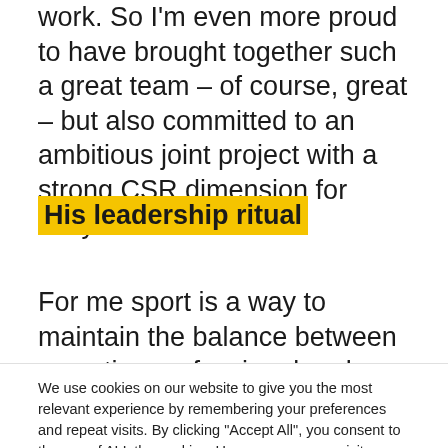work. So I'm even more proud to have brought together such a great team – of course, great – but also committed to an ambitious joint project with a strong CSR dimension for emlyon.
His leadership ritual
For me sport is a way to maintain the balance between an active professional and
We use cookies on our website to give you the most relevant experience by remembering your preferences and repeat visits. By clicking "Accept All", you consent to the use of ALL the cookies. However, you may visit "Cookie Settings" to provide a controlled consent.